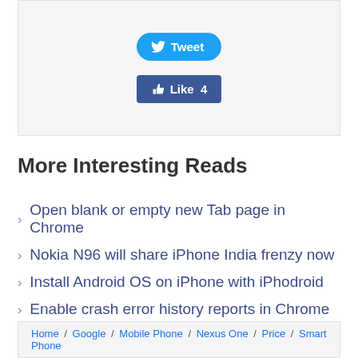[Figure (screenshot): Tweet button (blue rounded) and Like 4 button (Facebook blue) on a light gray background box]
More Interesting Reads
Open blank or empty new Tab page in Chrome
Nokia N96 will share iPhone India frenzy now
Install Android OS on iPhone with iPhodroid
Enable crash error history reports in Chrome
View & stop Background Apps in Google Chrome
Home / Google / Mobile Phone / Nexus One / Price / Smart Phone